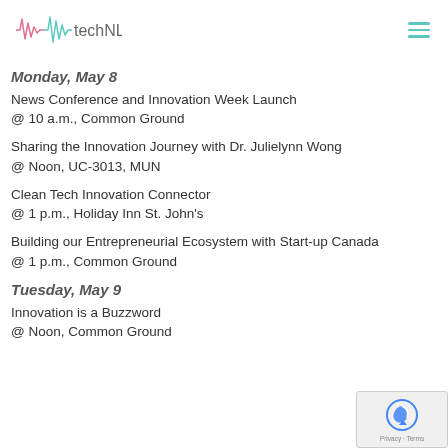techNL
Monday, May 8
News Conference and Innovation Week Launch
@ 10 a.m., Common Ground
Sharing the Innovation Journey with Dr. Julielynn Wong
@ Noon, UC-3013, MUN
Clean Tech Innovation Connector
@ 1 p.m., Holiday Inn St. John's
Building our Entrepreneurial Ecosystem with Start-up Canada
@ 1 p.m., Common Ground
Tuesday, May 9
Innovation is a Buzzword
@ Noon, Common Ground